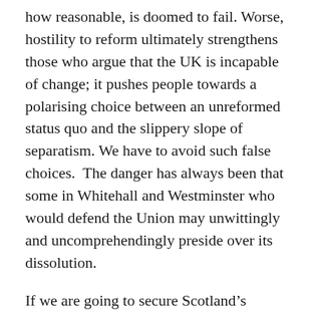how reasonable, is doomed to fail. Worse, hostility to reform ultimately strengthens those who argue that the UK is incapable of change; it pushes people towards a polarising choice between an unreformed status quo and the slippery slope of separatism. We have to avoid such false choices.  The danger has always been that some in Whitehall and Westminster who would defend the Union may unwittingly and uncomprehendingly preside over its dissolution.
If we are going to secure Scotland's position in the Union, we need to have a credible and lasting commitment to devolution in the UK. This has to be a commitment which transcends the varying short-term fortunes of political parties.
I want to be able to go to Scotland and say that there is a true commitment to devolution, set out as a key plank of the British constitution. This would present a real and